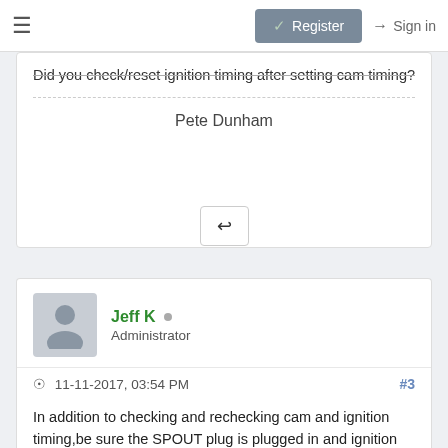≡   Register   Sign in
Did you check/reset ignition timing after setting cam timing?
Pete Dunham
↩
Jeff K  Administrator
11-11-2017, 03:54 PM  #3
In addition to checking and rechecking cam and ignition timing,be sure the SPOUT plug is plugged in and ignition timing advances.